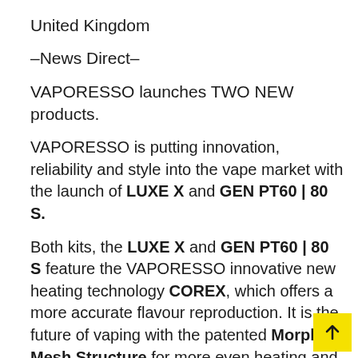United Kingdom
–News Direct–
VAPORESSO launches TWO NEW products.
VAPORESSO is putting innovation, reliability and style into the vape market with the launch of LUXE X and GEN PT60 | 80 S.
Both kits, the LUXE X and GEN PT60 | 80 S feature the VAPORESSO innovative new heating technology COREX, which offers a more accurate flavour reproduction. It is the future of vaping with the patented Morph-Mesh Structure for more even heating and a stronger flavour boost to provide the most flavourful vapor. The cumulus cotton, formed by a complex microfibre struct… is designed to be fluffier for a higher liquid